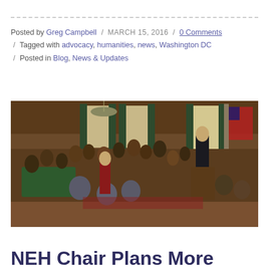Posted by Greg Campbell / MARCH 15, 2016 / 0 Comments / Tagged with advocacy, humanities, news, Washington DC / Posted in Blog, News & Updates
[Figure (photo): Historical painting depicting the signing of the U.S. Constitution, with many founding fathers gathered in a formal hall, George Washington standing at a podium on the right, American flag in the background.]
NEH Chair Plans More